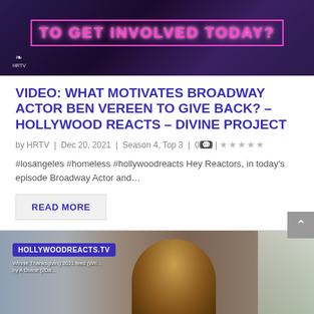[Figure (photo): Dark purple/neon background with pink neon text 'TO GET INVOLVED TODAY?' and Hollywood Reacts logo in bottom left]
VIDEO: WHAT MOTIVATES BROADWAY ACTOR BEN VEREEN TO GIVE BACK? – HOLLYWOOD REACTS – DIVINE PROJECT
by HRTV | Dec 20, 2021 | Season 4, Top 3 | 0 💬 | ★★★★★
#losangeles #homeless #hollywoodreacts Hey Reactors, in today's episode Broadway Actor and…
READ MORE
[Figure (photo): Man with curly hair in a store with HOLLYWOODREACTS.TV badge overlay, shelves visible in background, text overlay about Thanksgiving 2021]